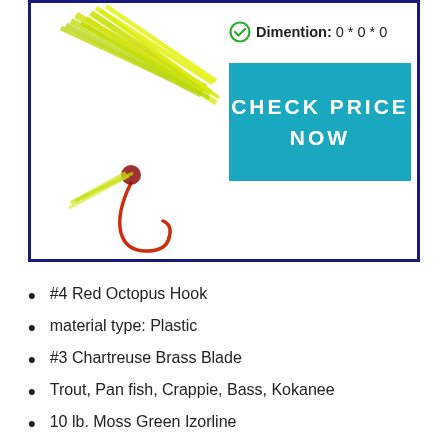[Figure (photo): Fishing lure with yellow-green chartreuse strands and red hook on white background]
Dimention: 0 * 0 * 0
CHECK PRICE NOW
#4 Red Octopus Hook
material type: Plastic
#3 Chartreuse Brass Blade
Trout, Pan fish, Crappie, Bass, Kokanee
10 lb. Moss Green Izorline